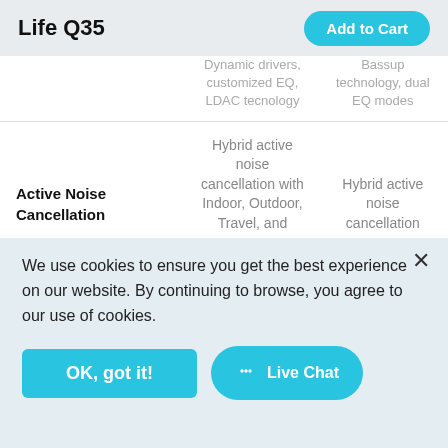Life Q35
|  | Col1 | Col2 |
| --- | --- | --- |
|  | Dynamic drivers, customized EQ, LDAC tecnology | Bassup technology, dual EQ modes |
| Active Noise Cancellation | Hybrid active noise cancellation with Indoor, Outdoor, Travel, and Transparency modes | Hybrid active noise cancellation |
| Playtime | 60 Hours (ANC off) 40 Hours (ANC on) | 60 Hours (ANC off) 40 Hours (ANC on) |
We use cookies to ensure you get the best experience on our website. By continuing to browse, you agree to our use of cookies.